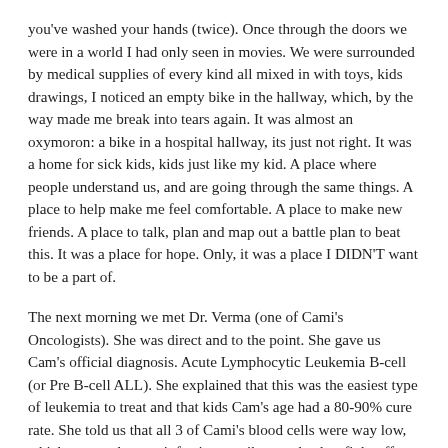you've washed your hands (twice). Once through the doors we were in a world I had only seen in movies. We were surrounded by medical supplies of every kind all mixed in with toys, kids drawings, I noticed an empty bike in the hallway, which, by the way made me break into tears again. It was almost an oxymoron: a bike in a hospital hallway, its just not right. It was a home for sick kids, kids just like my kid. A place where people understand us, and are going through the same things. A place to help make me feel comfortable. A place to make new friends. A place to talk, plan and map out a battle plan to beat this. It was a place for hope. Only, it was a place I DIDN'T want to be a part of.
The next morning we met Dr. Verma (one of Cami's Oncologists). She was direct and to the point. She gave us Cam's official diagnosis. Acute Lymphocytic Leukemia B-cell (or Pre B-cell ALL). She explained that this was the easiest type of leukemia to treat and that kids Cam's age had a 80-90% cure rate. She told us that all 3 of Cami's blood cells were way low, which means she gets infections easily, cant heal or fight off those infections easily, and has less oxygen in her blood. She explained that most parents are too overwhelmed and overloaded with information so she would just take us day by day. This was not going to work for me. I